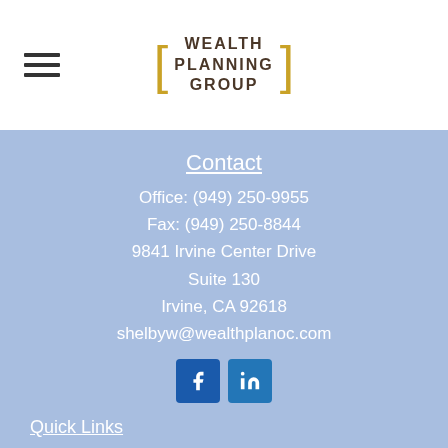[Figure (logo): Wealth Planning Group logo with gold brackets and dark brown text]
Contact
Office: (949) 250-9955
Fax: (949) 250-8844
9841 Irvine Center Drive
Suite 130
Irvine, CA 92618
shelbyw@wealthplanoc.com
[Figure (illustration): Facebook and LinkedIn social media icons]
Quick Links
Wealth Plan Advice Services
Our Service Model
Useful Links